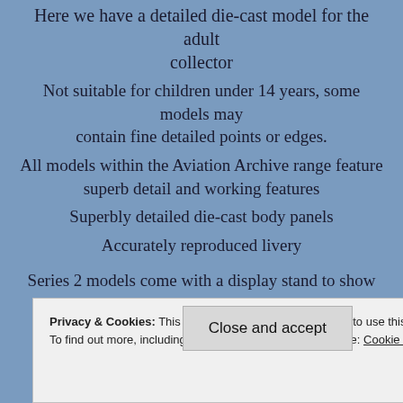Here we have a detailed die-cast model for the adult collector
Not suitable for children under 14 years, some models may contain fine detailed points or edges.
All models within the Aviation Archive range feature superb detail and working features
Superbly detailed die-cast body panels
Accurately reproduced livery
Series 2 models come with a display stand to show case your model the models in this series do not have landing gear.
Privacy & Cookies: This site uses cookies. By continuing to use this website, you agree to their use. To find out more, including how to control cookies, see here: Cookie Policy
Close and accept